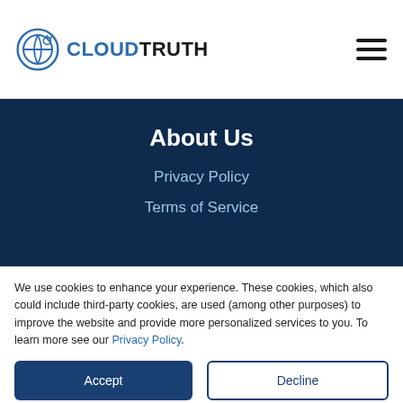CloudTruth logo and navigation hamburger menu
About Us
Privacy Policy
Terms of Service
Blog
We use cookies to enhance your experience. These cookies, which also could include third-party cookies, are used (among other purposes) to improve the website and provide more personalized services to you. To learn more see our Privacy Policy.